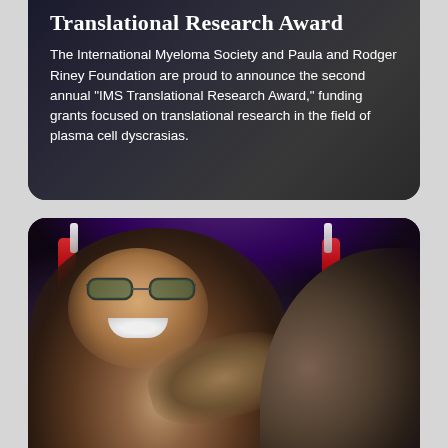Translational Research Award
The International Myeloma Society and Paula and Rodger Riney Foundation are proud to announce the second annual “IMS Translational Research Award,” funding grants focused on translational research in the field of plasma cell dyscrasias.
[Figure (photo): Two people at what appears to be a formal event or ceremony with colorful lights (red and purple) in the background. A smiling man wearing glasses is on the left, and another person is partially visible on the right. They appear to be exchanging or holding something.]